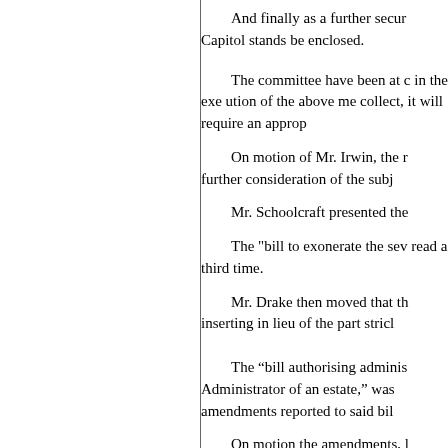And finally as a further secur Capitol stands be enclosed.
The committee have been at c in the exe ution of the above me collect, it will require an approp
On motion of Mr. Irwin, the r further consideration of the subj
Mr. Schoolcraft presented the
The "bill to exonerate the sev read a third time.
Mr. Drake then moved that th inserting in lieu of the part stricl
The “bill authorising adminis Administrator of an estate,” was amendments reported to said bil
On motion the amendments, l
The bill, as amended, was the